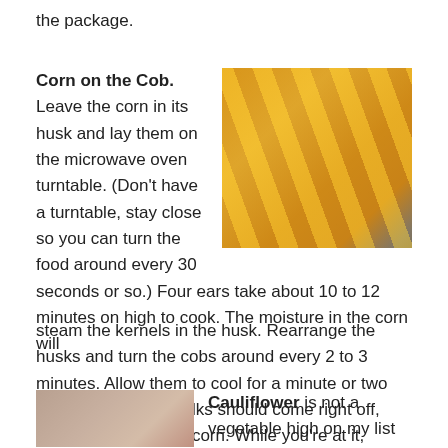the package.
Corn on the Cob. Leave the corn in its husk and lay them on the microwave oven turntable. (Don't have a turntable, stay close so you can turn the food around every 30 seconds or so.) Four ears take about 10 to 12 minutes on high to cook. The moisture in the corn will steam the kernels in the husk. Rearrange the husks and turn the cobs around every 2 to 3 minutes. Allow them to cool for a minute or two and the husks and silks should come right off, easier than with raw corn. While you're at it, butter melts nicely in the microwave, too.
[Figure (photo): Stack of corn on the cob ears with seasoning on a wooden surface against blue background]
Cauliflower is not a vegetable high on my list of favorites, but you have
[Figure (photo): Close-up photo of cauliflower]